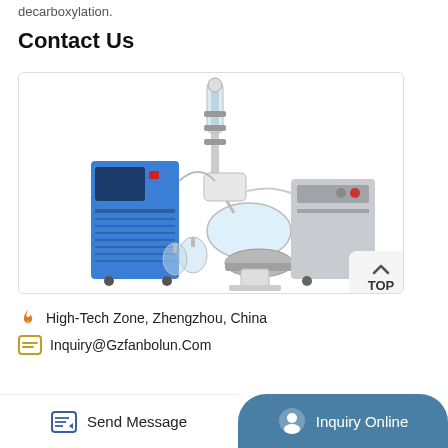decarboxylation.
Contact Us
[Figure (photo): Laboratory rotary evaporator setup with blue chiller unit on the left, central rotary evaporator with glass components and flask, and a grey vacuum pump unit on the right. A TOP navigation button visible on the right side.]
High-Tech Zone, Zhengzhou, China
Inquiry@Gzfanbolun.Com
Send Message   Inquiry Online